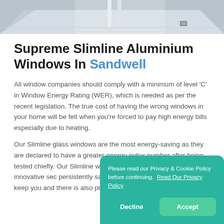[Figure (photo): Top portion of a room interior photo showing a light-colored floor and minimal furniture, partially cropped]
Supreme Slimline Aluminium Windows In Sandwell
All window companies should comply with a minimum of level 'C' in Window Energy Rating (WER), which is needed as per the recent legislation. The true cost of having the wrong windows in your home will be felt when you're forced to pay high energy bills especially due to heating.
Our Slimline glass windows are the most energy-saving as they are declared to have a greater energy index number after being tested chiefly. Our Slimline windows have an exceptionally innovative sec persistently safeguards you security glazing to keep you and there is also protection
Please read our Privacy & Cookie Policy before continuing.  Read Our Privacy Policy
Decline
Accept